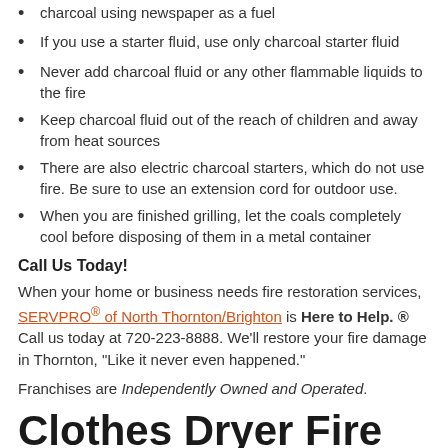charcoal using newspaper as a fuel
If you use a starter fluid, use only charcoal starter fluid
Never add charcoal fluid or any other flammable liquids to the fire
Keep charcoal fluid out of the reach of children and away from heat sources
There are also electric charcoal starters, which do not use fire. Be sure to use an extension cord for outdoor use.
When you are finished grilling, let the coals completely cool before disposing of them in a metal container
Call Us Today!
When your home or business needs fire restoration services, SERVPRO® of North Thornton/Brighton is Here to Help. ® Call us today at 720-223-8888. We'll restore your fire damage in Thornton, "Like it never even happened."
Franchises are Independently Owned and Operated.
Clothes Dryer Fire in Brighton?